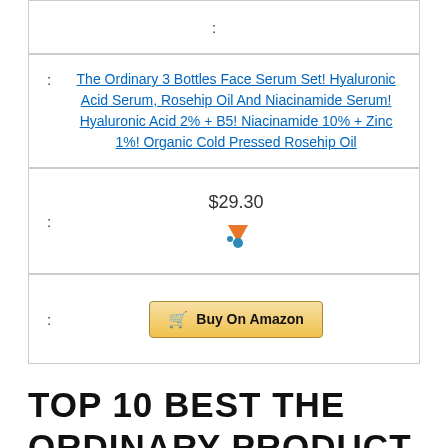| : |  |
| : | The Ordinary 3 Bottles Face Serum Set! Hyaluronic Acid Serum, Rosehip Oil And Niacinamide Serum! Hyaluronic Acid 2% + B5! Niacinamide 10% + Zinc 1%! Organic Cold Pressed Rosehip Oil |
| : | $29.30 |
| : | Buy On Amazon |
TOP 10 BEST THE ORDINARY PRODUCT FOR REDNESS